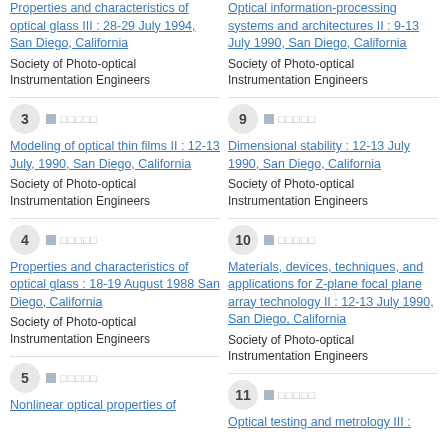Properties and characteristics of optical glass III : 28-29 July 1994, San Diego, California — Society of Photo-optical Instrumentation Engineers
Optical information-processing systems and architectures II : 9-13 July 1990, San Diego, California — Society of Photo-optical Instrumentation Engineers
3 — Modeling of optical thin films II : 12-13 July, 1990, San Diego, California — Society of Photo-optical Instrumentation Engineers
9 — Dimensional stability : 12-13 July 1990, San Diego, California — Society of Photo-optical Instrumentation Engineers
4 — Properties and characteristics of optical glass : 18-19 August 1988 San Diego, California — Society of Photo-optical Instrumentation Engineers
10 — Materials, devices, techniques, and applications for Z-plane focal plane array technology II : 12-13 July 1990, San Diego, California — Society of Photo-optical Instrumentation Engineers
5 — Nonlinear optical properties of...
11 — Optical testing and metrology III :...